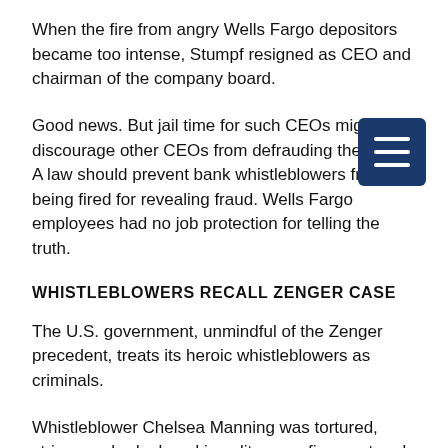When the fire from angry Wells Fargo depositors became too intense, Stumpf resigned as CEO and chairman of the company board.
Good news. But jail time for such CEOs might discourage other CEOs from defrauding the public. A law should prevent bank whistleblowers from being fired for revealing fraud. Wells Fargo employees had no job protection for telling the truth.
WHISTLEBLOWERS RECALL ZENGER CASE
The U.S. government, unmindful of the Zenger precedent, treats its heroic whistleblowers as criminals.
Whistleblower Chelsea Manning was tortured, strip-searched, placed in solitary confinement and sentenced to